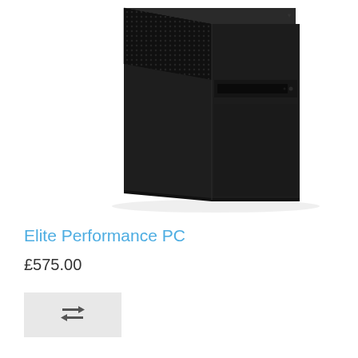[Figure (photo): Black desktop PC tower/computer case photographed at an angle against a white background]
Elite Performance PC
£575.00
[Figure (other): Compare button with repeat/compare icon on grey background]